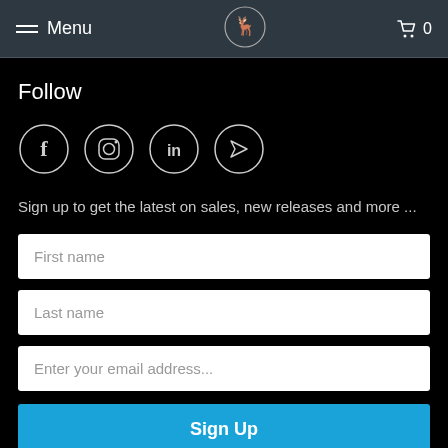Menu  [logo]  0
Follow
[Figure (illustration): Four circular social media icons: Facebook (f), Instagram (camera), LinkedIn (in), and a send/Telegram arrow icon]
Sign up to get the latest on sales, new releases and more ...
First name
Last name
Enter your email address...
Sign Up